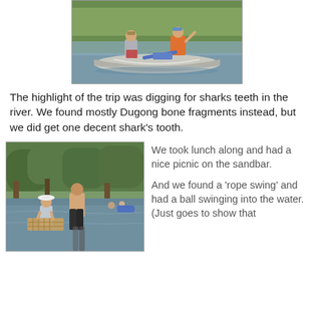[Figure (photo): Two people in a silver canoe on a river. One wears a gray shirt and hat, the other wears an orange life vest. Green vegetation visible in the background.]
The highlight of the trip was digging for sharks teeth in the river. We found mostly Dugong bone fragments instead, but we did get one decent shark's tooth.
[Figure (photo): People wading in a river. In the foreground, a person in a white hat holds a sifting screen. Another person stands behind them. Trees line the background. Other people visible farther back in the water.]
We took lunch along and had a nice picnic on the sandbar.

And we found a 'rope swing' and had a ball swinging into the water. (Just goes to show that